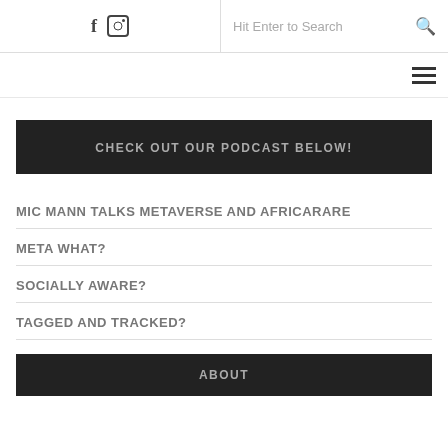f  [instagram icon]  |  Hit Enter to Search  [search icon]
[Figure (other): Hamburger menu icon (three horizontal lines) in top right navigation bar]
CHECK OUT OUR PODCAST BELOW!
MIC MANN TALKS METAVERSE AND AFRICARARE
META WHAT?
SOCIALLY AWARE?
TAGGED AND TRACKED?
ABOUT